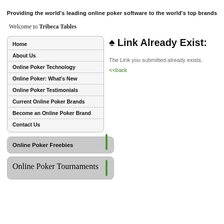Providing the world's leading online poker software to the world's top brands
Welcome to Tribeca Tables
Home
About Us
Online Poker Technology
Online Poker: What's New
Online Poker Testimonials
Current Online Poker Brands
Become an Online Poker Brand
Contact Us
Online Poker Freebies
Online Poker Tournaments
♠ Link Already Exist:
The Link you submitted already exists.
<<back